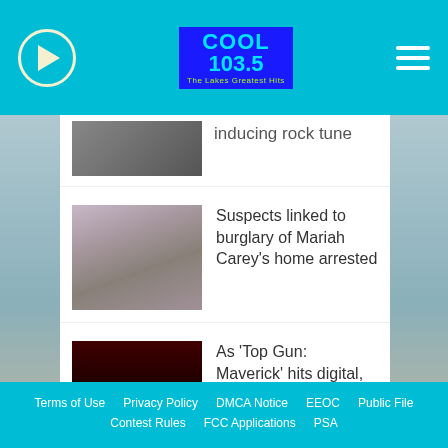Cool 103.5 – The Lakes Greatest Hits
inducing rock tune
Suspects linked to burglary of Mariah Carey's home arrested
As 'Top Gun: Maverick' hits digital, Kenny Loggins says "Danger Zone" is "streaming like mad"
Terms of Use  Privacy Policy  DMCA Notice  EEOC  Public File  Contest Rules  FCC Applications  PSA